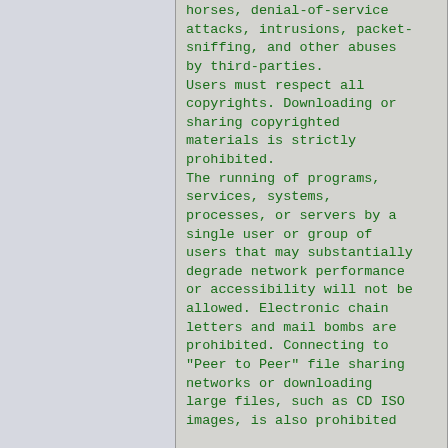horses, denial-of-service attacks, intrusions, packet-sniffing, and other abuses by third-parties. Users must respect all copyrights. Downloading or sharing copyrighted materials is strictly prohibited. The running of programs, services, systems, processes, or servers by a single user or group of users that may substantially degrade network performance or accessibility will not be allowed. Electronic chain letters and mail bombs are prohibited. Connecting to "Peer to Peer" file sharing networks or downloading large files, such as CD ISO images, is also prohibited